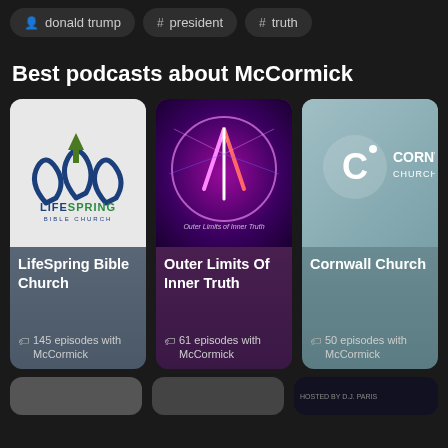person donald trump
# president
# truth
Best podcasts about McCormick
[Figure (screenshot): LifeSpring Bible Church podcast card with logo showing water droplets and upward arrow, blue logo on white background]
LifeSpring Bible Church
145 episodes with McCormick
[Figure (screenshot): Outer Limits Of Inner Truth podcast card with neon/glowing figure in circular frame on dark purple background]
Outer Limits Of Inner Truth
61 episodes with McCormick
[Figure (screenshot): Cornwall Church podcast card with white C logo and Cornwall Church text on teal background]
Cornwall Church
50 episodes with McCormick